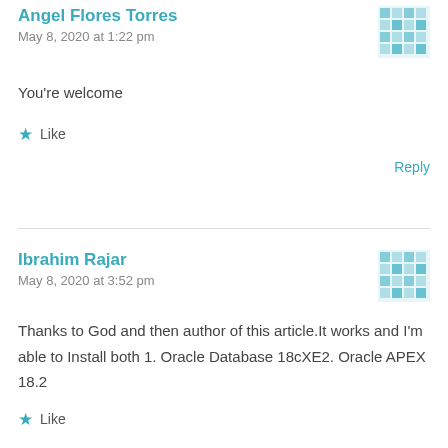Angel Flores Torres
May 8, 2020 at 1:22 pm
You're welcome
Like
Reply
Ibrahim Rajar
May 8, 2020 at 3:52 pm
Thanks to God and then author of this article.It works and I'm able to Install both 1. Oracle Database 18cXE2. Oracle APEX 18.2
Like